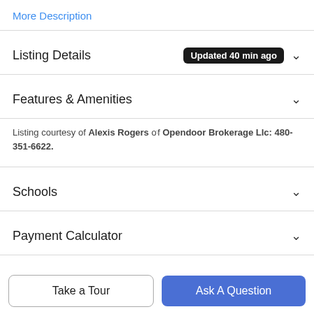More Description
Listing Details  Updated 40 min ago
Features & Amenities
Listing courtesy of Alexis Rogers of Opendoor Brokerage Llc: 480-351-6622.
Schools
Payment Calculator
Contact Agent
Take a Tour
Ask A Question